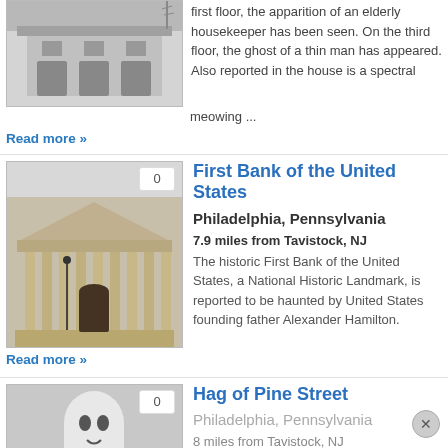[Figure (photo): Black and white photo of a building with garage doors]
first floor, the apparition of an elderly housekeeper has been seen. On the third floor, the ghost of a thin man has appeared. Also reported in the house is a spectral meowing ...
Read more »
[Figure (photo): Photo of the First Bank of the United States, a neoclassical building with large columns]
First Bank of the United States
Philadelphia, Pennsylvania
7.9 miles from Tavistock, NJ
The historic First Bank of the United States, a National Historic Landmark, is reported to be haunted by United States founding father Alexander Hamilton.
Read more »
[Figure (illustration): Ghost icon placeholder image]
Hag of Pine Street
Philadelphia, Pennsylvania
8 miles from Tavistock, NJ